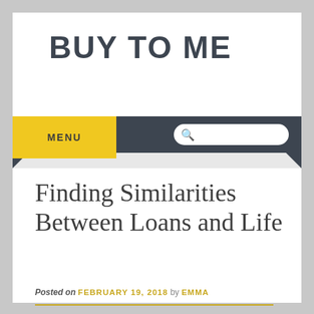BUY TO ME
Finding Similarities Between Loans and Life
Posted on FEBRUARY 19, 2018 by EMMA